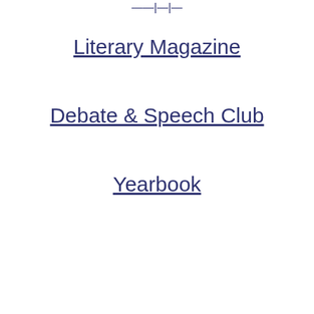Literary Magazine
Debate & Speech Club
Yearbook